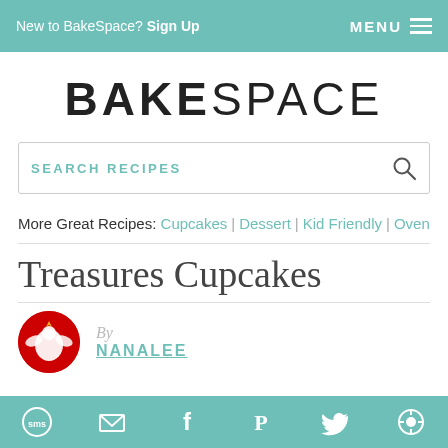New to BakeSpace? Sign Up   MENU
BAKESPACE
SEARCH RECIPES
More Great Recipes: Cupcakes | Dessert | Kid Friendly | Oven
Treasures Cupcakes
By NANALEE
SMS | email | facebook | pinterest | twitter | other